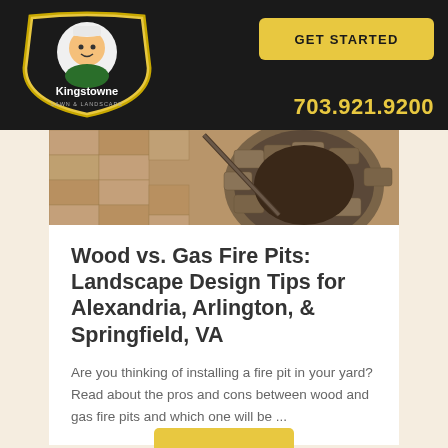Kingstowne Lawn & Landscape | GET STARTED | 703.921.9200
[Figure (photo): Stone circular fire pit with decorative pavers on a patio]
Wood vs. Gas Fire Pits: Landscape Design Tips for Alexandria, Arlington, & Springfield, VA
Are you thinking of installing a fire pit in your yard? Read about the pros and cons between wood and gas fire pits and which one will be ...